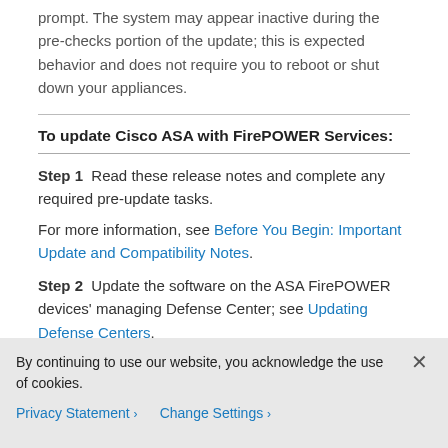prompt. The system may appear inactive during the pre-checks portion of the update; this is expected behavior and does not require you to reboot or shut down your appliances.
To update Cisco ASA with FirePOWER Services:
Step 1  Read these release notes and complete any required pre-update tasks.
For more information, see Before You Begin: Important Update and Compatibility Notes.
Step 2  Update the software on the ASA FirePOWER devices' managing Defense Center; see Updating Defense Centers.
Step 3  Download the update from the Support site:
By continuing to use our website, you acknowledge the use of cookies.
Privacy Statement > Change Settings >